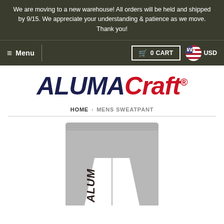We are moving to a new warehouse! All orders will be held and shipped by 9/15. We appreciate your understanding & patience as we move. Thank you!
≡ Menu | 🛒 0 Cart | 🇺🇸 USD
[Figure (logo): ALUMACraft logo in bold italic, ALUMA in dark navy, Craft in red, with registered trademark symbol]
HOME > MENS SWEATPANT
[Figure (photo): Grey heather mens sweatpants with ALUMA text printed vertically on the lower left leg]